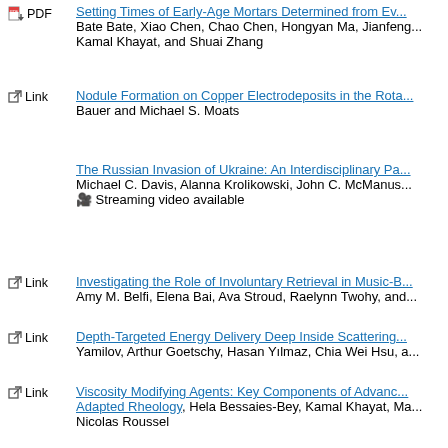PDF - Setting Times of Early-Age Mortars Determined from Ev... — Bate Bate, Xiao Chen, Chao Chen, Hongyan Ma, Jianfeng... Kamal Khayat, and Shuai Zhang
Link - Nodule Formation on Copper Electrodeposits in the Rota... — Bauer and Michael S. Moats
The Russian Invasion of Ukraine: An Interdisciplinary Pa... — Michael C. Davis, Alanna Krolikowski, John C. McManus... Streaming video available
Link - Investigating the Role of Involuntary Retrieval in Music-B... — Amy M. Belfi, Elena Bai, Ava Stroud, Raelynn Twohy, and...
Link - Depth-Targeted Energy Delivery Deep Inside Scattering... — Yamilov, Arthur Goetschy, Hasan Yılmaz, Chia Wei Hsu, a...
Link - Viscosity Modifying Agents: Key Components of Advanc... Adapted Rheology, Hela Bessaies-Bey, Kamal Khayat, Ma... Nicolas Roussel